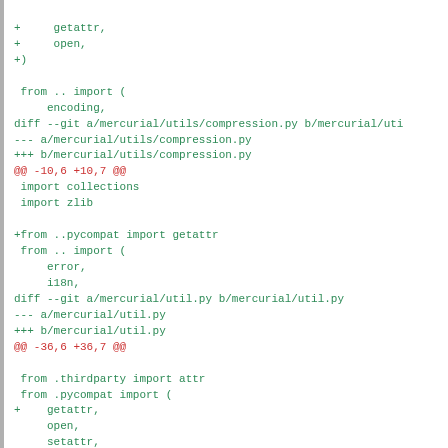Code diff showing mercurial utils changes including compression.py, util.py, and urllibcompat.py
[Figure (screenshot): Git diff output showing changes to mercurial Python files including compression.py and util.py, with added getattr imports from pycompat module]